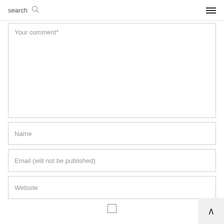search ☰
Your comment*
Name
Email (will not be published)
Website